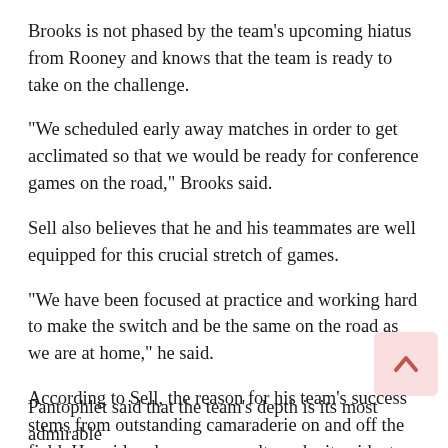Brooks is not phased by the team's upcoming hiatus from Rooney and knows that the team is ready to take on the challenge.
“We scheduled early away matches in order to get acclimated so that we would be ready for conference games on the road,” Brooks said.
Sell also believes that he and his teammates are well equipped for this crucial stretch of games.
“We have been focused at practice and working hard to make the switch and be the same on the road as we are at home,” he said.
According to Sell, the reason for his team’s success stems from outstanding camaraderie on and off the field. He said early season results make it evident that the Dukes can play cohesively from game to game.
Pantophlet said that the team’s depth is its most admirable